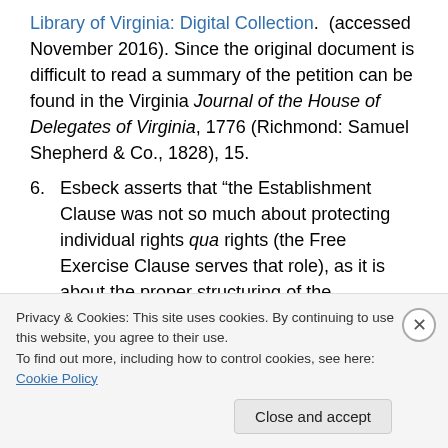Library of Virginia: Digital Collection. (accessed November 2016). Since the original document is difficult to read a summary of the petition can be found in the Virginia Journal of the House of Delegates of Virginia, 1776 (Richmond: Samuel Shepherd & Co., 1828), 15.
6. Esbeck asserts that “the Establishment Clause was not so much about protecting individual rights qua rights (the Free Exercise Clause serves that role), as it is about the proper structuring of the relationship between two centers of authority, government and
Privacy & Cookies: This site uses cookies. By continuing to use this website, you agree to their use. To find out more, including how to control cookies, see here: Cookie Policy